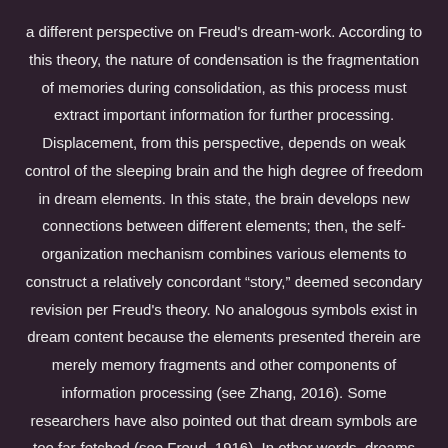a different perspective on Freud's dream-work. According to this theory, the nature of condensation is the fragmentation of memories during consolidation, as this process must extract important information for further processing. Displacement, from this perspective, depends on weak control of the sleeping brain and the high degree of freedom in dream elements. In this state, the brain develops new connections between different elements; then, the self-organization mechanism combines various elements to construct a relatively concordant “story,” deemed secondary revision per Freud's theory. No analogous symbols exist in dream content because the elements presented therein are merely memory fragments and other components of information processing (see Zhang, 2016). Some researchers have also pointed out that dream symbols are too far-fetched (see Freud, 1916). In other words, dreams are not riddles to be translated (Hartmann, 2010a), and